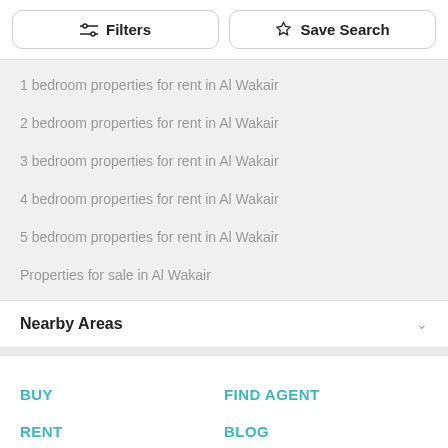Filters | Save Search
1 bedroom properties for rent in Al Wakair
2 bedroom properties for rent in Al Wakair
3 bedroom properties for rent in Al Wakair
4 bedroom properties for rent in Al Wakair
5 bedroom properties for rent in Al Wakair
Properties for sale in Al Wakair
Nearby Areas
BUY
FIND AGENT
RENT
BLOG
COMMERCIAL
About Us
Terms & Conditions